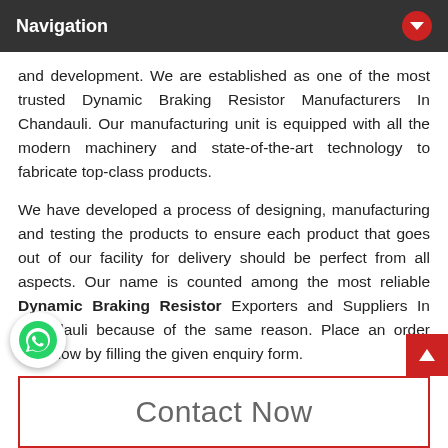Navigation
and development. We are established as one of the most trusted Dynamic Braking Resistor Manufacturers In Chandauli. Our manufacturing unit is equipped with all the modern machinery and state-of-the-art technology to fabricate top-class products.
We have developed a process of designing, manufacturing and testing the products to ensure each product that goes out of our facility for delivery should be perfect from all aspects. Our name is counted among the most reliable Dynamic Braking Resistor Exporters and Suppliers In Chandauli because of the same reason. Place an order right now by filling the given enquiry form.
[Figure (logo): WhatsApp green phone icon button]
[Figure (other): Red scroll-to-top arrow button]
Contact Now